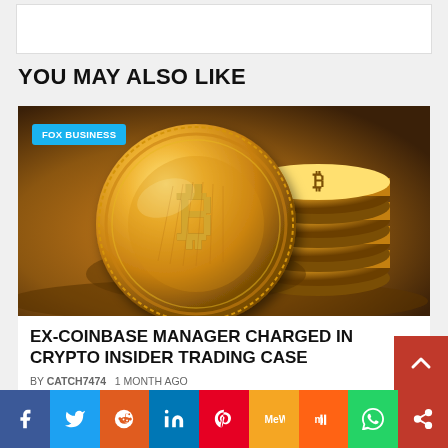YOU MAY ALSO LIKE
[Figure (photo): Stack of gold Bitcoin coins on a dark wooden surface with orange/warm lighting. FOX BUSINESS badge overlaid top-left.]
EX-COINBASE MANAGER CHARGED IN CRYPTO INSIDER TRADING CASE
BY CATCH7474   1 MONTH AGO
[Figure (infographic): Social sharing bar with icons: Facebook, Twitter, Reddit, LinkedIn, Pinterest, MeWe, Mix, WhatsApp, Share]